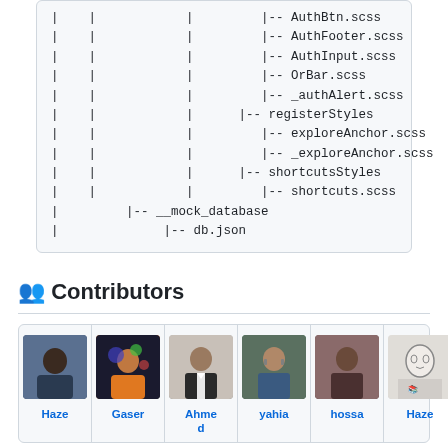| |            |         |-- AuthBtn.scss
| |            |         |-- AuthFooter.scss
| |            |         |-- AuthInput.scss
| |            |         |-- OrBar.scss
| |            |         |-- _authAlert.scss
| |            |      |-- registerStyles
| |            |         |-- exploreAnchor.scss
| |            |         |-- _exploreAnchor.scss
| |            |      |-- shortcutsStyles
| |            |         |-- shortcuts.scss
|      |-- __mock_database
|          |-- db.json
👥 Contributors
| Haze | Gaser | Ahmed d | yahia | hossa | Haze |
| --- | --- | --- | --- | --- | --- |
| [avatar] | [avatar] | [avatar] | [avatar] | [avatar] | [avatar] |